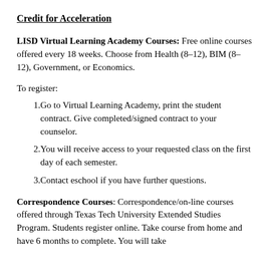Credit for Acceleration
LISD Virtual Learning Academy Courses: Free online courses offered every 18 weeks. Choose from Health (8-12), BIM (8-12), Government, or Economics.
To register:
1. Go to Virtual Learning Academy, print the student contract. Give completed/signed contract to your counselor.
2. You will receive access to your requested class on the first day of each semester.
3. Contact eschool if you have further questions.
Correspondence Courses: Correspondence/on-line courses offered through Texas Tech University Extended Studies Program. Students register online. Take course from home and have 6 months to complete. You will take